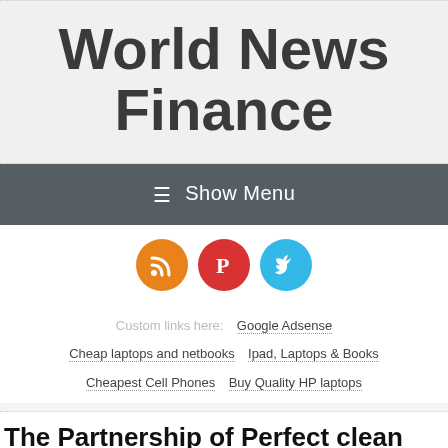World News Finance
☰  Show Menu
[Figure (illustration): Three social media icon circles: RSS (orange), Pinterest (red), Twitter (blue)]
Custom links here:  Google Adsense  Cheap laptops and netbooks  Ipad, Laptops & Books  Cheapest Cell Phones  Buy Quality HP laptops
The Partnership of Perfect clean with